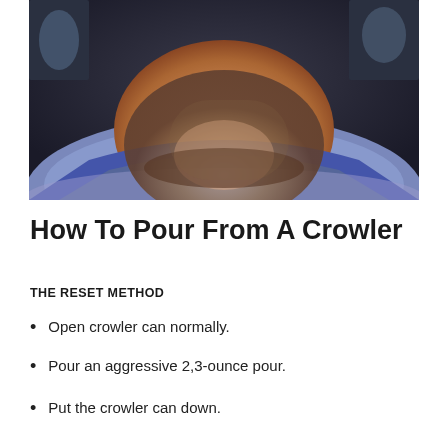[Figure (photo): Close-up photo of a man's chin and neck area with a grey/brown beard, wearing a blue-grey shirt, taken in what appears to be a bar setting with glasses visible in the background]
How To Pour From A Crowler
THE RESET METHOD
Open crowler can normally.
Pour an aggressive 2,3-ounce pour.
Put the crowler can down.